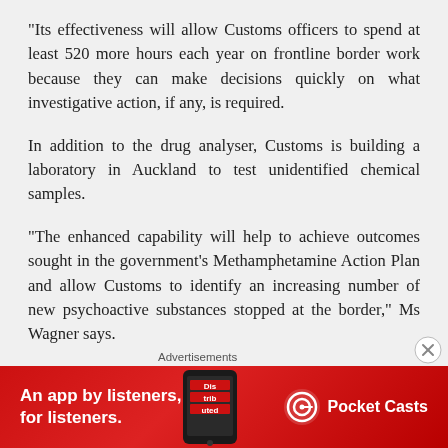“Its effectiveness will allow Customs officers to spend at least 520 more hours each year on frontline border work because they can make decisions quickly on what investigative action, if any, is required.
In addition to the drug analyser, Customs is building a laboratory in Auckland to test unidentified chemical samples.
“The enhanced capability will help to achieve outcomes sought in the government’s Methamphetamine Action Plan and allow Customs to identify an increasing number of new psychoactive substances stopped at the border,” Ms Wagner says.
Advertisements
[Figure (other): Red advertisement banner for Pocket Casts app reading 'An app by listeners, for listeners.' with Pocket Casts logo and a phone image showing 'Distributed']